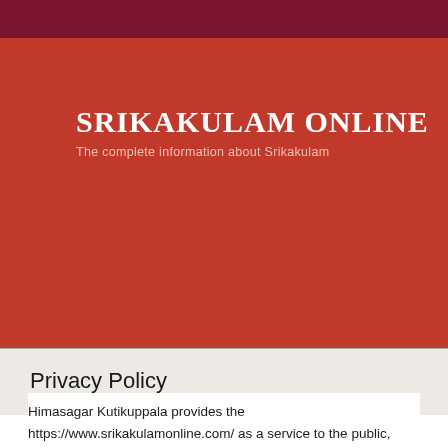[Figure (screenshot): Website header banner for Srikakulam Online with dark red top bar and orange-red background]
SRIKAKULAM ONLINE
The complete information about Srikakulam
Privacy Policy
Himasagar Kutikuppala provides the https://www.srikakulamonline.com/ as a service to the public, especially to the people related to srikakulam.